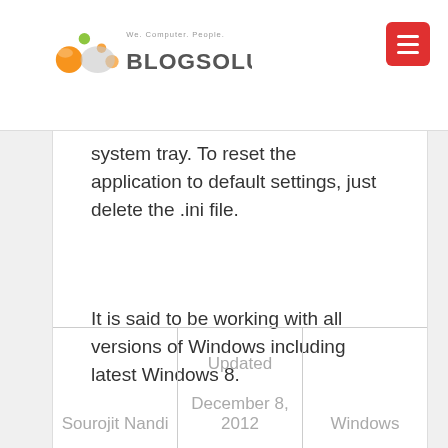[Figure (logo): Blogsolute logo with text 'We. Computer. People.' and colored circular icons]
system tray. To reset the application to default settings, just delete the .ini file.
It is said to be working with all versions of Windows including latest Windows 8.
|  | Updated |  |
| --- | --- | --- |
| Sourojit Nandi | December 8, 2012 | Windows |